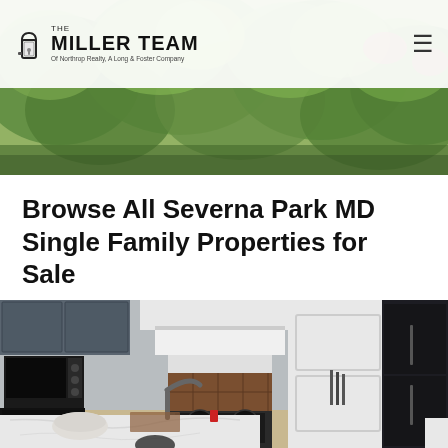[Figure (photo): Garden/nature background photo with green foliage and flowering plants in header banner]
The MILLER TEAM Of Northrop Realty, A Long & Foster Company
Browse All Severna Park MD Single Family Properties for Sale
[Figure (photo): Kitchen interior photo showing renovated kitchen with dark grey cabinets, white quartz island countertop, white range hood, stainless steel appliances, and a black refrigerator]